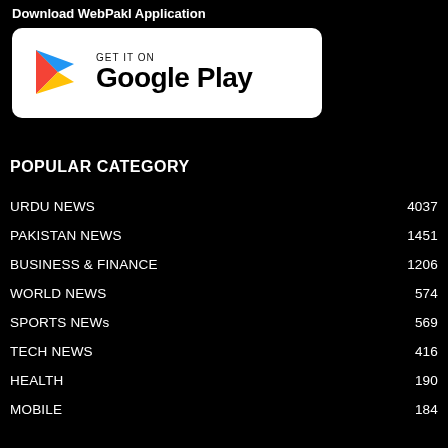Download WebPakI Application
[Figure (logo): GET IT ON Google Play button with Google Play triangle logo icon]
POPULAR CATEGORY
URDU NEWS   4037
PAKISTAN NEWS   1451
BUSINESS & FINANCE   1206
WORLD NEWS   574
SPORTS NEWs   569
TECH NEWS   416
HEALTH   190
MOBILE   184